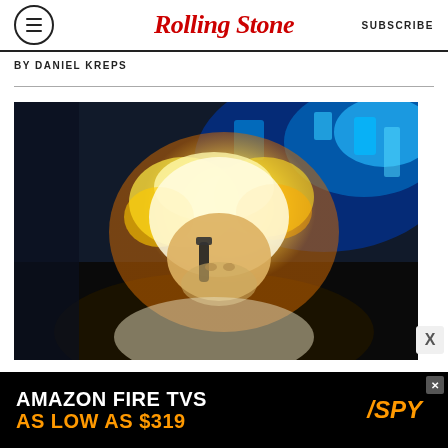Rolling Stone — SUBSCRIBE
BY DANIEL KREPS
[Figure (photo): A person with wild, glowing blond/white hair holding a dark handheld device up to their face, photographed in a dimly lit room with blue lighting in the background.]
[Figure (screenshot): Advertisement banner: AMAZON FIRE TVS AS LOW AS $319 with SPY logo]